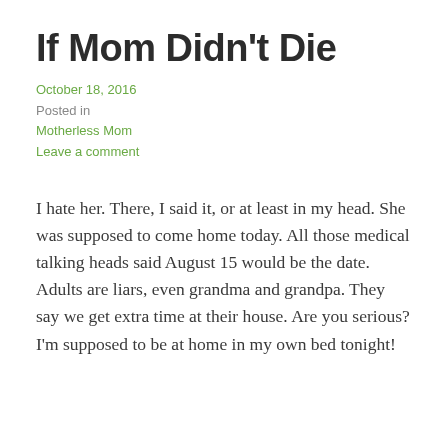If Mom Didn't Die
October 18, 2016
Posted in Motherless Mom
Leave a comment
I hate her. There, I said it, or at least in my head. She was supposed to come home today. All those medical talking heads said August 15 would be the date. Adults are liars, even grandma and grandpa. They say we get extra time at their house. Are you serious? I'm supposed to be at home in my own bed tonight!